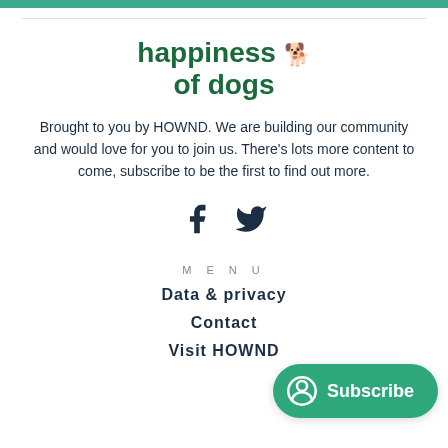[Figure (logo): Happiness of Dogs logo with green text and yellow dog icon]
Brought to you by HOWND. We are building our community and would love for you to join us. There's lots more content to come, subscribe to be the first to find out more.
[Figure (illustration): Facebook and Twitter social media icons in dark navy]
MENU
Data & privacy
Contact
Visit HOWND
[Figure (illustration): Green Subscribe button with user icon]